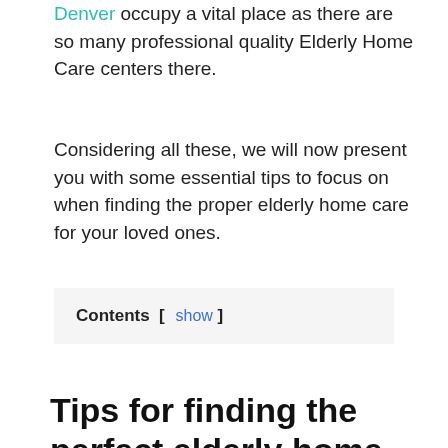Denver occupy a vital place as there are so many professional quality Elderly Home Care centers there.
Considering all these, we will now present you with some essential tips to focus on when finding the proper elderly home care for your loved ones.
Contents [ show ]
Tips for finding the perfect elderly home care service
Let us see some of the factors we need to consider and perform when Finding the Right Elderly Home Care.